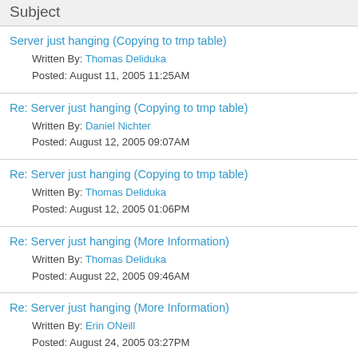Subject
Server just hanging (Copying to tmp table)
Written By: Thomas Deliduka
Posted: August 11, 2005 11:25AM
Re: Server just hanging (Copying to tmp table)
Written By: Daniel Nichter
Posted: August 12, 2005 09:07AM
Re: Server just hanging (Copying to tmp table)
Written By: Thomas Deliduka
Posted: August 12, 2005 01:06PM
Re: Server just hanging (More Information)
Written By: Thomas Deliduka
Posted: August 22, 2005 09:46AM
Re: Server just hanging (More Information)
Written By: Erin ONeill
Posted: August 24, 2005 03:27PM